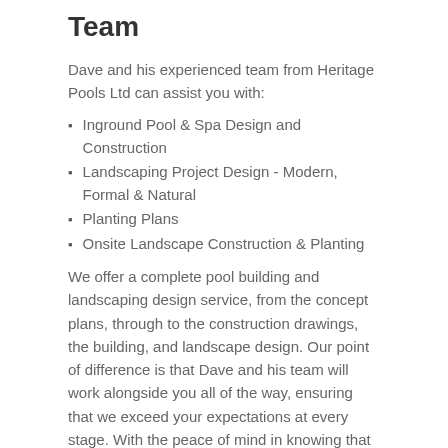Team
Dave and his experienced team from Heritage Pools Ltd can assist you with:
Inground Pool & Spa Design and Construction
Landscaping Project Design - Modern, Formal & Natural
Planting Plans
Onsite Landscape Construction & Planting
We offer a complete pool building and landscaping design service, from the concept plans, through to the construction drawings, the building, and landscape design. Our point of difference is that Dave and his team will work alongside you all of the way, ensuring that we exceed your expectations at every stage. With the peace of mind in knowing that you are working with a member of the New Zealand Landscape Association, you can rely upon us to get the job done right the first time.